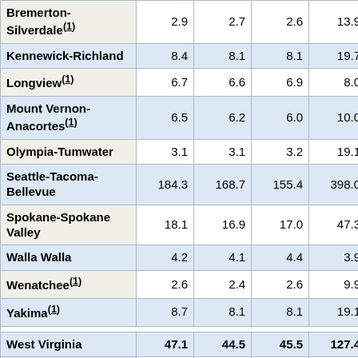| Area | Col1 | Col2 | Col3 | Col4 | Col5 | Col6+ |
| --- | --- | --- | --- | --- | --- | --- |
| Bremerton-Silverdale(1) | 2.9 | 2.7 | 2.6 | 13.9 | 13.1 |  |
| Kennewick-Richland | 8.4 | 8.1 | 8.1 | 19.7 | 19.4 |  |
| Longview(1) | 6.7 | 6.6 | 6.9 | 8.0 | 8.0 |  |
| Mount Vernon-Anacortes(1) | 6.5 | 6.2 | 6.0 | 10.0 | 9.5 |  |
| Olympia-Tumwater | 3.1 | 3.1 | 3.2 | 19.1 | 18.4 |  |
| Seattle-Tacoma-Bellevue | 184.3 | 168.7 | 155.4 | 398.0 | 391.4 | 4… |
| Spokane-Spokane Valley | 18.1 | 16.9 | 17.0 | 47.3 | 45.7 |  |
| Walla Walla | 4.2 | 4.1 | 4.4 | 3.9 | 4.1 |  |
| Wenatchee(1) | 2.6 | 2.4 | 2.6 | 9.9 | 9.6 |  |
| Yakima(1) | 8.7 | 8.1 | 8.1 | 19.1 | 19.0 |  |
| West Virginia | 47.1 | 44.5 | 45.5 | 127.4 | 120.3 | 1… |
| Beckley(1) | - | - | - | - | - |  |